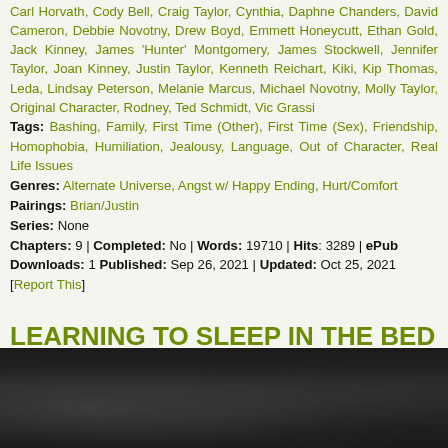Carl Horvath, Cody Bell, Craig Taylor, Cynthia, Daphne Chanders, David Cameron, Debbie Novotny, Drew Boyd, Emmett Honeycutt, Ethan Gold, Jack Kinney, James 'Hunter' Montgomery, James Stockwell, Jennifer Taylor, Joan Kinney, Justin Taylor, Kenneth Reichart, Kiki, Kip Thomas, Leda, Lindsay Peterson, Melanie Marcus, Michael Novotny, Molly Taylor, Original Character, Rodney, Ted Schmidt, Vic Grassi
Tags: Bashing, Family, First Time (Other), First Time (Sex), Friendship, Homophobia, Humiliation, Jealousy, Language, Out of Character, Real Life Issues
Genres: Alternate Universe, Angst w/ Happy Ending, Hurt/Comfort
Pairings: Brian/Justin
Series: None
Chapters: 9 | Completed: No | Words: 19710 | Hits: 3289 | ePub Downloads: 1 Published: Sep 26, 2021 | Updated: Oct 25, 2021
[Report This]
LEARNING TO SLEEP IN THE BED YOU MADE: FADED PICTURES 2: BROKEN GLASS by Nichelle Wellesly
Rated: M • 85 Reviews ★★★★★
Summary:
[Figure (photo): Dark blurred background image, appears to be a dark atmospheric/moody photo used as story banner]